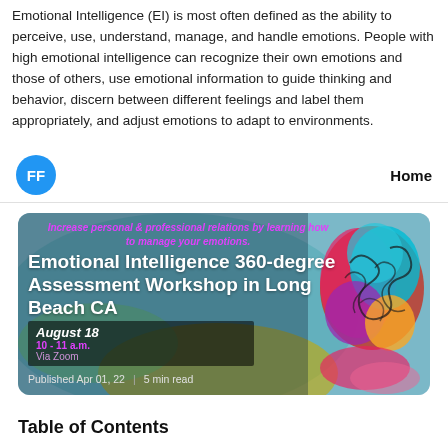Emotional Intelligence (EI) is most often defined as the ability to perceive, use, understand, manage, and handle emotions. People with high emotional intelligence can recognize their own emotions and those of others, use emotional information to guide thinking and behavior, discern between different feelings and label them appropriately, and adjust emotions to adapt to environments.
[Figure (screenshot): Navigation bar with blue avatar circle labeled FF on the left and Home link on the right, separated by a horizontal rule]
[Figure (illustration): Promotional card for Emotional Intelligence 360-degree Assessment Workshop in Long Beach CA. Pink/magenta heading text reads 'Increase personal & professional relations by learning how to manage your emotions.' Large white bold title text. Overlaid black box showing August 18, 10-11 a.m., Via Zoom. Footer shows Published Apr 01, 22 | 5 min read. Right side shows colorful illustrated brain graphic.]
Table of Contents